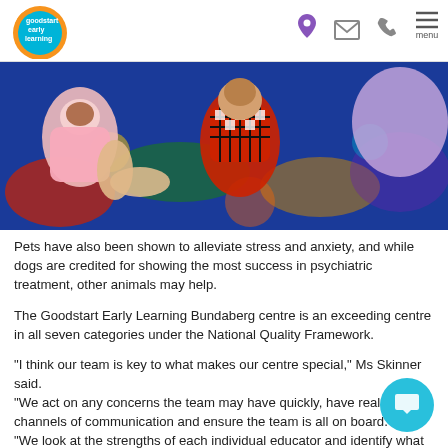[Figure (logo): Goodstart Early Learning logo - circular logo with blue/teal and orange colours with white text]
[Figure (photo): Children lying on a colourful mat/rug viewed from above, one wearing a red and black checked outfit]
Pets have also been shown to alleviate stress and anxiety, and while dogs are credited for showing the most success in psychiatric treatment, other animals may help.
The Goodstart Early Learning Bundaberg centre is an exceeding centre in all seven categories under the National Quality Framework.
“I think our team is key to what makes our centre special,” Ms Skinner said. “We act on any concerns the team may have quickly, have really open channels of communication and ensure the team is all on board. “We look at the strengths of each individual educator and identify what they can do for the centre.”
Ms Skinner said she also enjoyed communicating with the parents to keep them in the loop and used The Goodstart Practice Guide extensively.